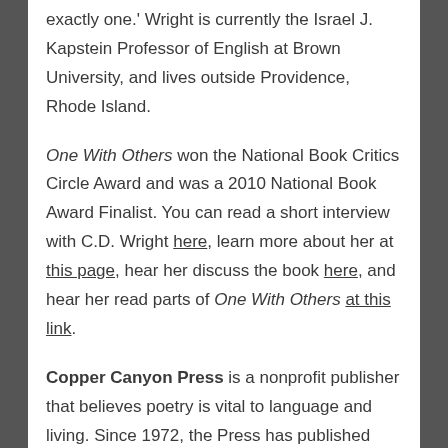exactly one.' Wright is currently the Israel J. Kapstein Professor of English at Brown University, and lives outside Providence, Rhode Island.
One With Others won the National Book Critics Circle Award and was a 2010 National Book Award Finalist. You can read a short interview with C.D. Wright here, learn more about her at this page, hear her discuss the book here, and hear her read parts of One With Others at this link.
Copper Canyon Press is a nonprofit publisher that believes poetry is vital to language and living. Since 1972, the Press has published poetry exclusively and has established an international reputation for its commitment to authors, editorial acumen, and dedication to the poetry audience. As the preeminent